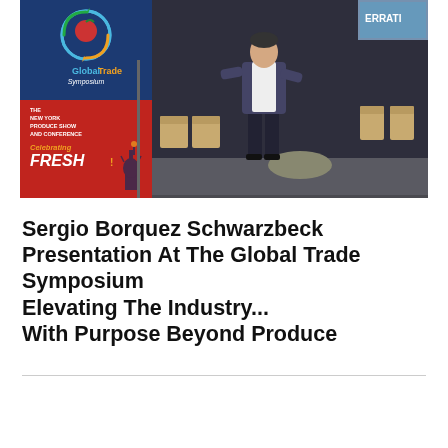[Figure (photo): Event photo showing a man presenting at the Global Trade Symposium stage at the New York Produce Show and Conference. A banner/sign is visible on the left with the GlobalTrade Symposium logo and 'Celebrating Fresh' text. The stage area has chairs and a screen in the background.]
Sergio Borquez Schwarzbeck Presentation At The Global Trade Symposium Elevating The Industry... With Purpose Beyond Produce